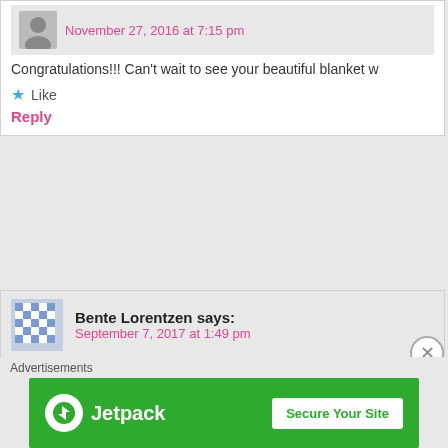November 27, 2016 at 7:15 pm
Congratulations!!! Can't wait to see your beautiful blanket w
Like
Reply
Bente Lorentzen says: September 7, 2017 at 1:49 pm
I'm making this beautiful blanket as we speak! I'm on row 32... a few issues, but with the help of enlarging the photos here hang of it. I'm not a very experienced at crocheting. Your letter caught my eye because my blanket is also going because I also had only boy grandchildren til my Lily came a her! Have fun making the blanket and best wishes for a beautif
Like
[Figure (infographic): Jetpack advertisement banner with green background, Jetpack logo and 'Secure Your Site' button]